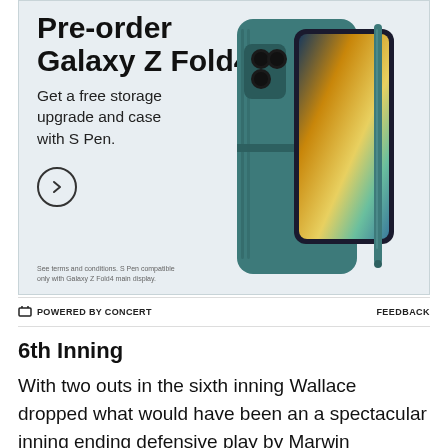[Figure (illustration): Samsung Galaxy Z Fold4 pre-order advertisement. Shows a teal/grey foldable phone with case and S Pen stylus on the right side. Left side has text: 'Pre-order Galaxy Z Fold4 / Get a free storage upgrade and case with S Pen.' with a circular arrow button and small disclaimer text.]
⊟ POWERED BY CONCERT    FEEDBACK
6th Inning
With two outs in the sixth inning Wallace dropped what would have been an a spectacular inning ending defensive play by Marwin Gonzalez. Unfortunately,